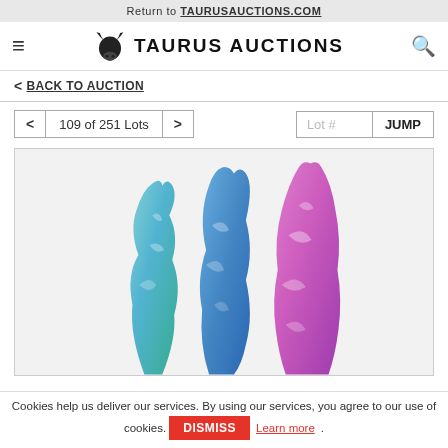Return to TAURUSAUCTIONS.COM
[Figure (logo): Taurus Auctions logo with bull head icon and text TAURUS AUCTIONS]
< BACK TO AUCTION
< 109 of 251 Lots > Lot # JUMP
[Figure (photo): Three decorative abstract sculptures - two blue/teal marbled figures and one purple/pink marbled elongated shape, displayed on white background]
Cookies help us deliver our services. By using our services, you agree to our use of cookies. DISMISS Learn more.